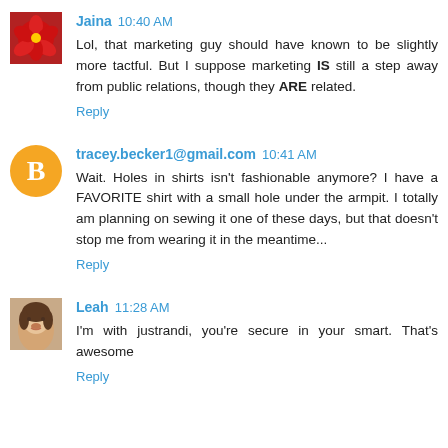[Figure (photo): Red flower avatar photo for user Jaina]
Jaina 10:40 AM
Lol, that marketing guy should have known to be slightly more tactful. But I suppose marketing IS still a step away from public relations, though they ARE related.
Reply
[Figure (logo): Orange circle with white letter B (Blogger icon) for user tracey.becker1@gmail.com]
tracey.becker1@gmail.com 10:41 AM
Wait. Holes in shirts isn't fashionable anymore? I have a FAVORITE shirt with a small hole under the armpit. I totally am planning on sewing it one of these days, but that doesn't stop me from wearing it in the meantime...
Reply
[Figure (photo): Photo avatar of Leah, a woman smiling]
Leah 11:28 AM
I'm with justrandi, you're secure in your smart. That's awesome
Reply